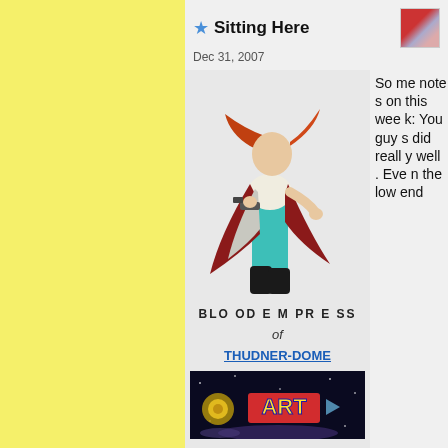[Figure (illustration): Yellow sidebar background]
★ Sitting Here  Dec 31, 2007
[Figure (photo): Avatar thumbnail image in top right corner]
[Figure (illustration): Fantasy character illustration: woman with red hair, wearing a cape and teal pants, holding a gun]
BLO OD E M PR E SS
of
THUDNER-DOME
[Figure (screenshot): Bottom game/art screenshot with colorful ART text and space-themed background]
Some notes on this week: You guys did really well. Even the low end